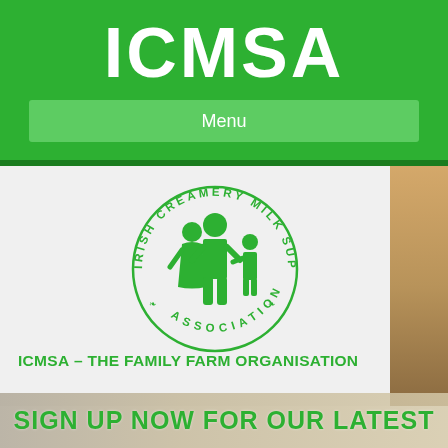ICMSA
Menu
[Figure (logo): ICMSA logo: circular badge with text 'IRISH CREAMERY MILK SUPPLIERS ASSOCIATION' around the border and a green family silhouette (man, woman, child) in the center]
ICMSA – THE FAMILY FARM ORGANISATION
SIGN UP NOW FOR OUR LATEST